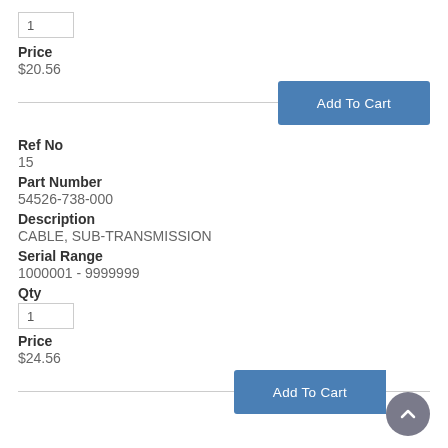1
Price
$20.56
Add To Cart
Ref No
15
Part Number
54526-738-000
Description
CABLE, SUB-TRANSMISSION
Serial Range
1000001 - 9999999
Qty
1
Price
$24.56
Add To Cart